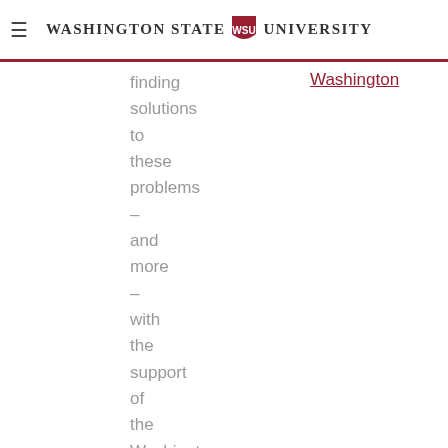Washington State University
finding solutions to these problems – and more – with the support of the Washington Research Foundation. And
Washington